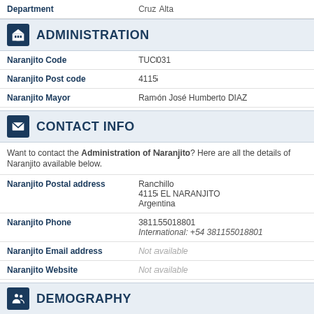|  |  |
| --- | --- |
| Department | Cruz Alta |
ADMINISTRATION
| Field | Value |
| --- | --- |
| Naranjito Code | TUC031 |
| Naranjito Post code | 4115 |
| Naranjito Mayor | Ramón José Humberto DIAZ |
CONTACT INFO
Want to contact the Administration of Naranjito? Here are all the details of Naranjito available below.
| Field | Value |
| --- | --- |
| Naranjito Postal address | Ranchillo
4115 EL NARANJITO
Argentina |
| Naranjito Phone | 381155018801
International: +54 381155018801 |
| Naranjito Email address | Not available |
| Naranjito Website | Not available |
| Other information | Municipalidades en Argentina : El Naranjito |
Naranjito Birth certificate, Naranjito Death certificate
DEMOGRAPHY